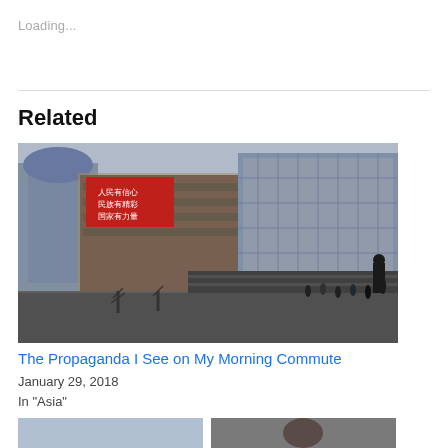Loading...
Related
[Figure (photo): Urban street scene in China showing modern glass buildings and a large red LED billboard with Chinese text, people walking on the street below, bare winter trees in a plaza area]
The Propaganda I See on My Morning Commute
January 29, 2018
In "Asia"
[Figure (photo): Partial view of two images at bottom of page, cropped]